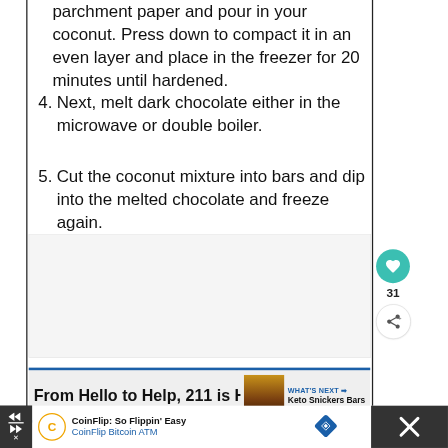parchment paper and pour in your coconut. Press down to compact it in an even layer and place in the freezer for 20 minutes until hardened.
4. Next, melt dark chocolate either in the microwave or double boiler.
5. Cut the coconut mixture into bars and dip into the melted chocolate and freeze again.
[Figure (photo): Blank/loading image placeholder area]
[Figure (infographic): What's Next banner with Keto Snickers Bars thumbnail and heart/share buttons. 31 likes shown.]
[Figure (infographic): CoinFlip advertisement banner: CoinFlip: So Flippin' Easy, CoinFlip Bitcoin ATM]